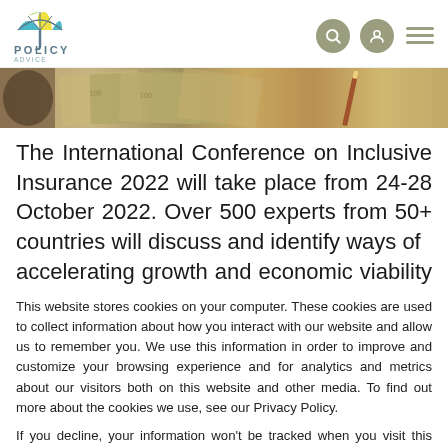Policy Advice - website header with logo and navigation icons
[Figure (photo): Hero image showing US dollar bills fanned out with a pencil, in warm brown/gold tones]
The International Conference on Inclusive Insurance 2022 will take place from 24-28 October 2022. Over 500 experts from 50+ countries will discuss and identify ways of accelerating growth and economic viability in inclusive
This website stores cookies on your computer. These cookies are used to collect information about how you interact with our website and allow us to remember you. We use this information in order to improve and customize your browsing experience and for analytics and metrics about our visitors both on this website and other media. To find out more about the cookies we use, see our Privacy Policy.
If you decline, your information won't be tracked when you visit this website. A single cookie will be used in your browser to remember your preference not to be tracked.
Accept
Decline